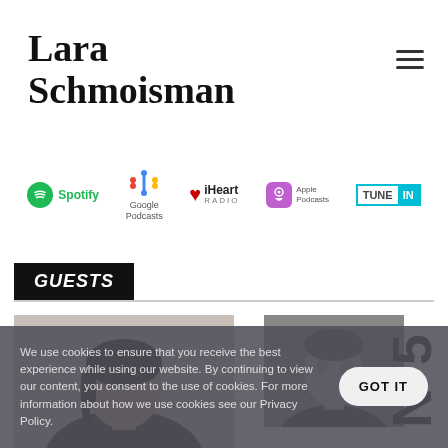Lara Schmoisman
[Figure (logo): Hamburger menu icon (three horizontal lines)]
[Figure (infographic): Row of podcast platform logos: Spotify, Google Podcasts, iHeart Radio, Apple Podcasts, TuneIn]
GUESTS
[Figure (photo): Woman with dark hair facing slightly right - podcast guest photo card 1 with COFFEE N°5 vertical label]
[Figure (photo): Man in black-and-white photo - podcast guest photo card 2 with N°5 vertical label]
We use cookies to ensure that you receive the best experience while using our website. By continuing to view our content, you consent to the use of cookies. For more information about how we use cookies see our Privacy Policy.